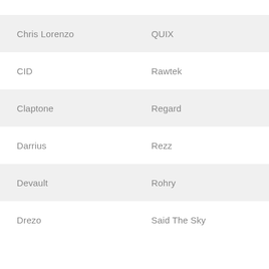| Chris Lorenzo | QUIX |
| CID | Rawtek |
| Claptone | Regard |
| Darrius | Rezz |
| Devault | Rohry |
| Drezo | Said The Sky |